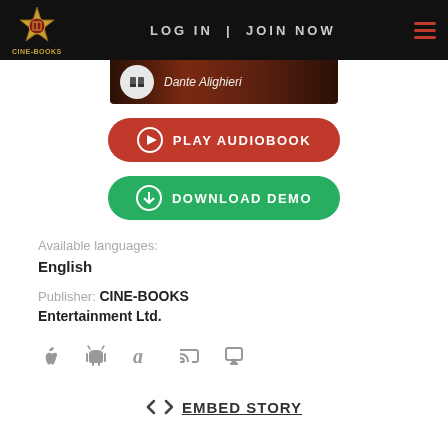LOG IN | JOIN NOW
[Figure (screenshot): Dante Alighieri audiobook header strip with headphones icon]
PLAY AUDIOBOOK
DOWNLOAD DEMO
Available languages:
English
Publisher: CINE-BOOKS Entertainment Ltd.
[Figure (illustration): Platform icons: Apple, Android, Amazon, Chromecast, AirPlay]
EMBED STORY